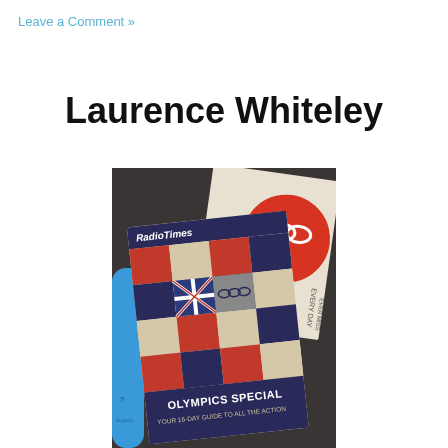Leave a Comment »
Laurence Whiteley
[Figure (photo): Photo of Radio Times Olympics Special magazine covers arranged on a dark surface, with a blue rolled item on the left. The front cover shows a grid of red, navy and cream illustrated Olympic sports panels, with 'RadioTimes' logo and text 'OLYMPICS SPECIAL YOUR 16-DAY GUIDE TO ALL THE ACTION'. Behind it is another Radio Times with a large red Olympic rings graphic.]